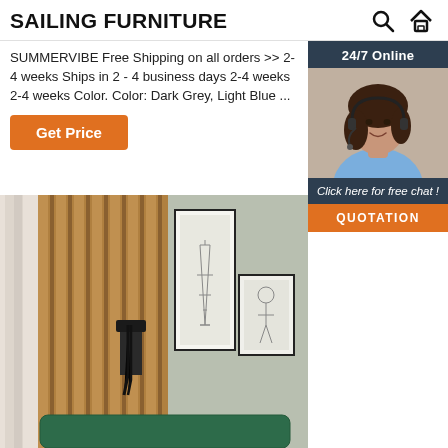SAILING FURNITURE
SUMMERVIBE Free Shipping on all orders >> 2-4 weeks Ships in 2 - 4 business days 2-4 weeks 2-4 weeks Color. Color: Dark Grey, Light Blue ...
Get Price
[Figure (photo): Customer service agent, woman with headset smiling, with '24/7 Online' label above and 'Click here for free chat!' and 'QUOTATION' button below]
[Figure (photo): Interior room photo showing wooden slat wall panel, curtains, framed artwork including Eiffel Tower print, and green velvet headboard]